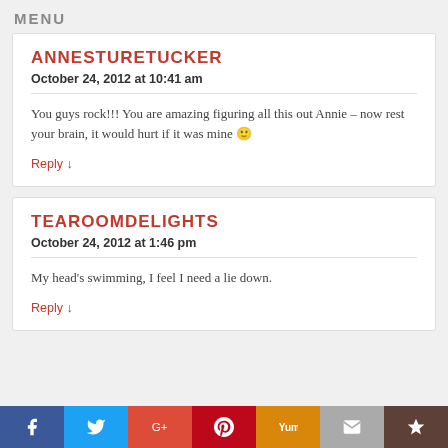MENU
ANNESTURETUCKER
October 24, 2012 at 10:41 am
You guys rock!!! You are amazing figuring all this out Annie – now rest your brain, it would hurt if it was mine 🙂
Reply ↓
TEAROOMDELIGHTS
October 24, 2012 at 1:46 pm
My head's swimming, I feel I need a lie down.
Reply ↓